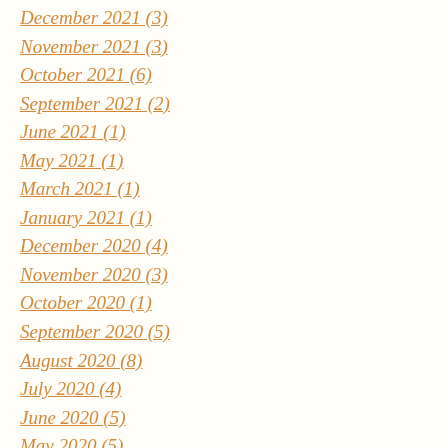December 2021 (3)
November 2021 (3)
October 2021 (6)
September 2021 (2)
June 2021 (1)
May 2021 (1)
March 2021 (1)
January 2021 (1)
December 2020 (4)
November 2020 (3)
October 2020 (1)
September 2020 (5)
August 2020 (8)
July 2020 (4)
June 2020 (5)
May 2020 (5)
April 2020 (6)
March 2020 (3)